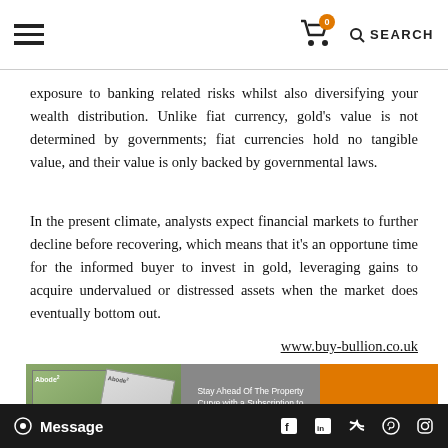Navigation header with hamburger menu, cart icon (0), and SEARCH link
exposure to banking related risks whilst also diversifying your wealth distribution. Unlike fiat currency, gold's value is not determined by governments; fiat currencies hold no tangible value, and their value is only backed by governmental laws.
In the present climate, analysts expect financial markets to further decline before recovering, which means that it's an opportune time for the informed buyer to invest in gold, leveraging gains to acquire undervalued or distressed assets when the market does eventually bottom out.
www.buy-bullion.co.uk
[Figure (infographic): Advertisement banner for Abode2 magazine subscription with magazine covers image and orange SUBSCRIBE button]
Message | Social icons: Facebook, LinkedIn, Twitter, Pinterest, Instagram